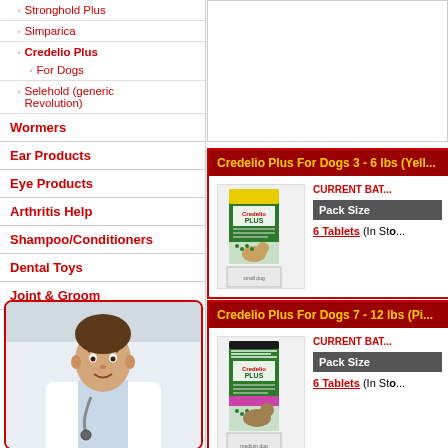Stronghold Plus
Simparica
Credelio Plus
For Dogs
Selehold (generic Revolution)
Wormers
Ear Products
Eye Products
Arthritis Help
Shampoo/Conditioners
Dental Toys
Joint & Groom
[Figure (photo): Veterinarian in white coat with stethoscope, smiling]
Credelio Plus For Dogs 3 - 6 lbs (Yell...
CURRENT BAT...
Pack Size
6 Tablets (In Sto...
[Figure (photo): Credelio Plus product box for small dogs 3-6 lbs with yellow packaging]
Credelio Plus For Dogs 7 - 12 lbs (Pi...
CURRENT BAT...
Pack Size
6 Tablets (In Sto...
[Figure (photo): Credelio Plus product box for dogs 7-12 lbs with pink/purple packaging]